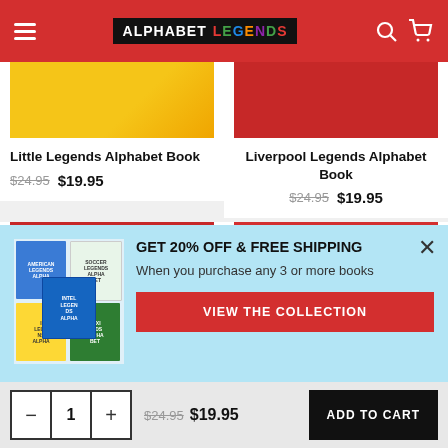Alphabet Legends
[Figure (screenshot): Little Legends Alphabet Book product image - yellow/colorful book cover]
Little Legends Alphabet Book
$24.95 $19.95
[Figure (screenshot): Liverpool Legends Alphabet Book product image - red cover]
Liverpool Legends Alphabet Book
$24.95 $19.95
[Figure (screenshot): Second row left book - red cover with figures]
[Figure (screenshot): Second row right book - rainbow striped cover]
[Figure (infographic): Promotional popup banner: GET 20% OFF & FREE SHIPPING - When you purchase any 3 or more books - VIEW THE COLLECTION button - showing multiple book covers]
GET 20% OFF & FREE SHIPPING
When you purchase any 3 or more books
VIEW THE COLLECTION
$24.95 $19.95
ADD TO CART